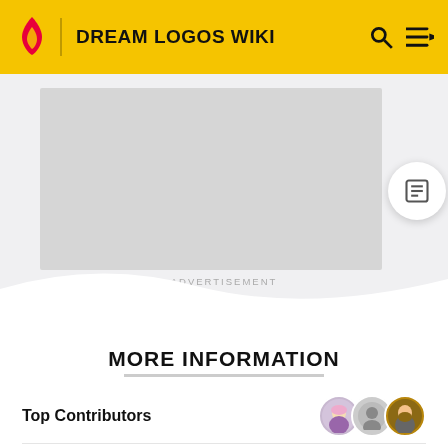DREAM LOGOS WIKI
[Figure (screenshot): Advertisement placeholder box (gray rectangle)]
ADVERTISEMENT
MORE INFORMATION
Top Contributors
Comments (0)
Categories
Community content is available under CC-BY-SA unless otherwise noted.